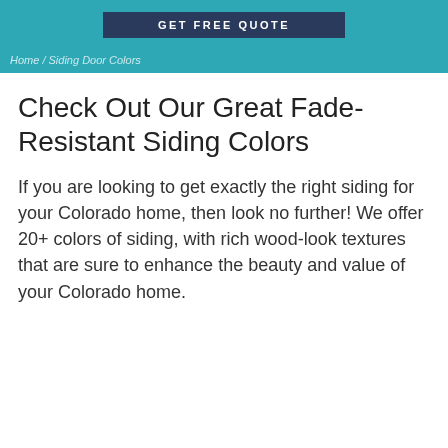GET FREE QUOTE
Home / Siding Door Colors
Check Out Our Great Fade-Resistant Siding Colors
If you are looking to get exactly the right siding for your Colorado home, then look no further! We offer 20+ colors of siding, with rich wood-look textures that are sure to enhance the beauty and value of your Colorado home.